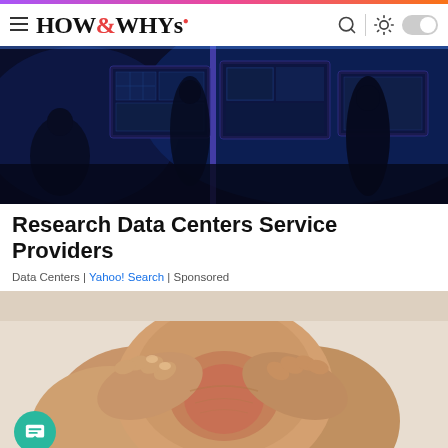HOW&WHYs
[Figure (photo): People working in a dark control room with multiple computer monitors displaying dashboards and data]
Research Data Centers Service Providers
Data Centers | Yahoo! Search | Sponsored
[Figure (photo): Close-up of a person holding their knee, suggesting knee pain or injury]